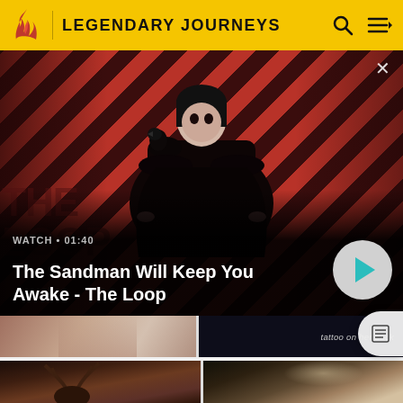LEGENDARY JOURNEYS
[Figure (screenshot): Featured video promotion for 'The Sandman Will Keep You Awake - The Loop' showing a pale figure in black with a raven on shoulder against red and black diagonal striped background. Shows WATCH • 01:40 label and play button.]
WATCH • 01:40
The Sandman Will Keep You Awake - The Loop
[Figure (screenshot): Partial thumbnail showing female figure in floral dress]
tattoo on her back
[Figure (photo): Dark fantasy scene with figure wearing antler/branch headdress]
[Figure (photo): Fantasy scene with blonde female figure in ornate costume]